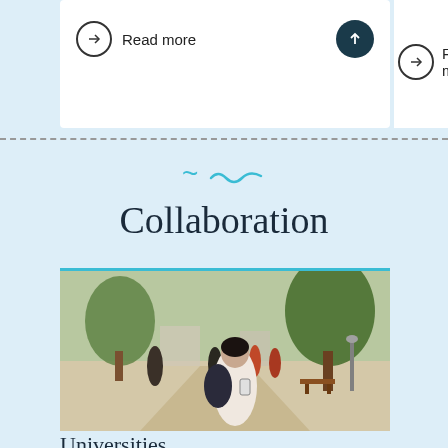Read more
Read mor
Collaboration
[Figure (photo): Students walking on a university campus path. A young woman in the foreground looks at her phone while carrying a backpack. Other students walk in the background among trees and buildings.]
Universities